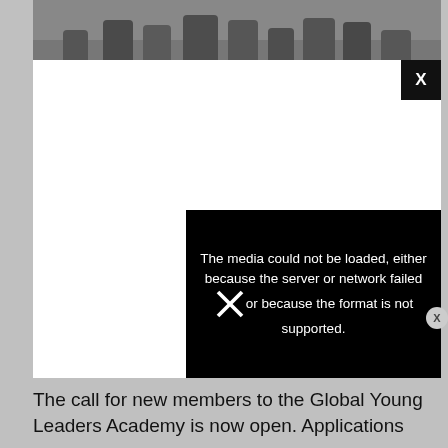[Figure (photo): Photo of students/young people walking outdoors, partially visible at top of page behind a modal overlay]
[Figure (screenshot): Modal/video player overlay with white background, black close button (X) in top-right corner. An error message box in bottom-right of modal reads: 'The media could not be loaded, either because the server or network failed or because the format is not supported.' A circular X button appears at right edge. A large decorative X appears over the error text.]
The call for new members to the Global Young Leaders Academy is now open. Applications are